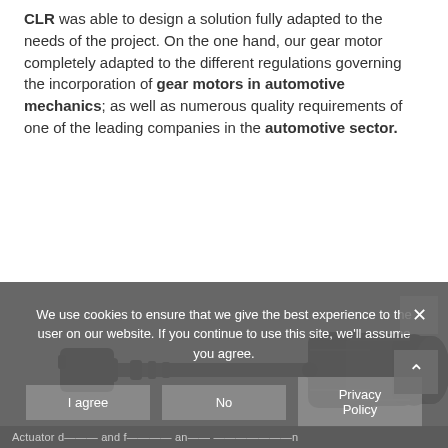CLR was able to design a solution fully adapted to the needs of the project. On the one hand, our gear motor completely adapted to the different regulations governing the incorporation of gear motors in automotive mechanics; as well as numerous quality requirements of one of the leading companies in the automotive sector.
[Figure (photo): A black automotive gear motor actuator component — a cylindrical motor body with a long shaft and connector, photographed on a white background.]
We use cookies to ensure that we give the best experience to the user on our website. If you continue to use this site, we'll assume you agree.
Actuator designed and for automotive and automotive...